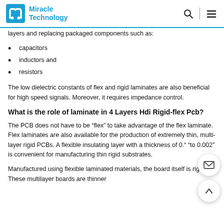Miracle Technology
layers and replacing packaged components such as:
capacitors
inductors and
resistors
The low dielectric constants of flex and rigid laminates are also beneficial for high speed signals. Moreover, it requires impedance control.
What is the role of laminate in 4 Layers Hdi Rigid-flex Pcb?
The PCB does not have to be “flex” to take advantage of the flex laminate. Flex laminates are also available for the production of extremely thin, multi-layer rigid PCBs. A flexible insulating layer with a thickness of 0.“ to 0.002” is convenient for manufacturing thin rigid substrates.
Manufactured using flexible laminated materials, the board itself is rigid. These multilayer boards are thinner